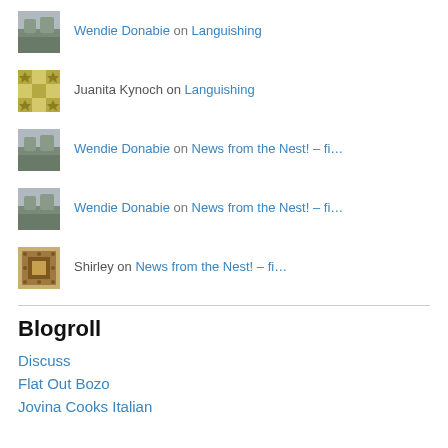Wendie Donabie on Languishing
Juanita Kynoch on Languishing
Wendie Donabie on News from the Nest! – fi…
Wendie Donabie on News from the Nest! – fi…
Shirley on News from the Nest! – fi…
Blogroll
Discuss
Flat Out Bozo
Jovina Cooks Italian